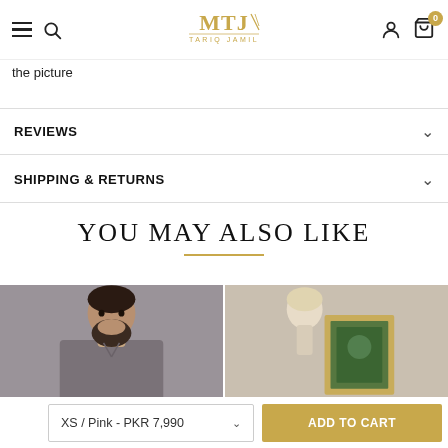MTJ TARIQ JAMIL — Navigation header with hamburger, search, logo, account, and cart (0 items)
the picture
REVIEWS
SHIPPING & RETURNS
YOU MAY ALSO LIKE
[Figure (photo): Product photo: man with beard wearing grey kurta]
[Figure (photo): Product photo: mannequin head with embroidered item on stand with golden frame]